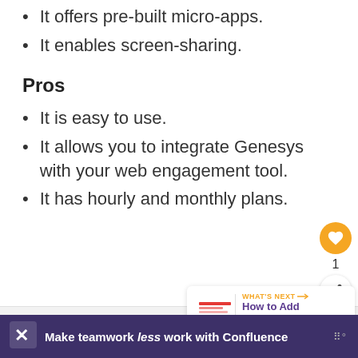It offers pre-built micro-apps.
It enables screen-sharing.
Pros
It is easy to use.
It allows you to integrate Genesys with your web engagement tool.
It has hourly and monthly plans.
[Figure (screenshot): What's Next card showing 'How to Add Spaces on...' with a thumbnail image]
Make teamwork less work with Confluence